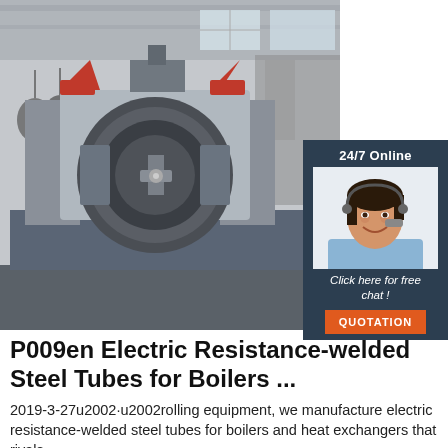[Figure (photo): Industrial machine — electric resistance welding tube mill equipment in a factory. Large gray CNC machine with a circular forming die, red side guards, visible tooling, and workshop background with hanging chains and other equipment.]
[Figure (photo): 24/7 Online chat widget overlay — dark navy background with '24/7 Online' text, photo of a smiling female customer service agent with a headset, italic text 'Click here for free chat!', and an orange 'QUOTATION' button.]
P009en Electric Resistance-welded Steel Tubes for Boilers ...
2019-3-27u2002·u2002rolling equipment, we manufacture electric resistance-welded steel tubes for boilers and heat exchangers that rivals